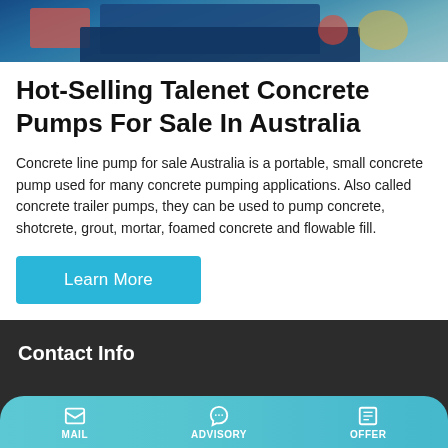[Figure (photo): Industrial concrete pumping equipment in a warehouse/factory setting with blue machinery and colorful decorations]
Hot-Selling Talenet Concrete Pumps For Sale In Australia
Concrete line pump for sale Australia is a portable, small concrete pump used for many concrete pumping applications. Also called concrete trailer pumps, they can be used to pump concrete, shotcrete, grout, mortar, foamed concrete and flowable fill.
Learn More
Contact Info
Gaoyinqu Area, Zhengzhou Henan China